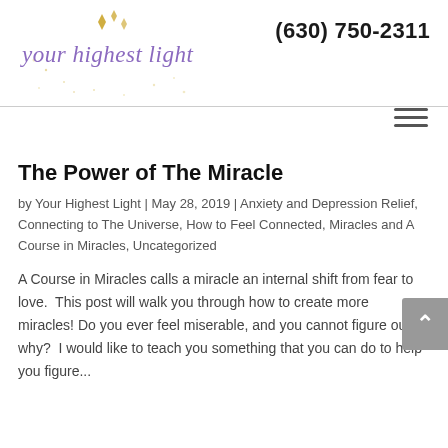[Figure (logo): Your Highest Light logo with purple cursive text and gold diamond sparkle shapes]
(630) 750-2311
The Power of The Miracle
by Your Highest Light | May 28, 2019 | Anxiety and Depression Relief, Connecting to The Universe, How to Feel Connected, Miracles and A Course in Miracles, Uncategorized
A Course in Miracles calls a miracle an internal shift from fear to love.  This post will walk you through how to create more miracles! Do you ever feel miserable, and you cannot figure out why?  I would like to teach you something that you can do to help you figure...